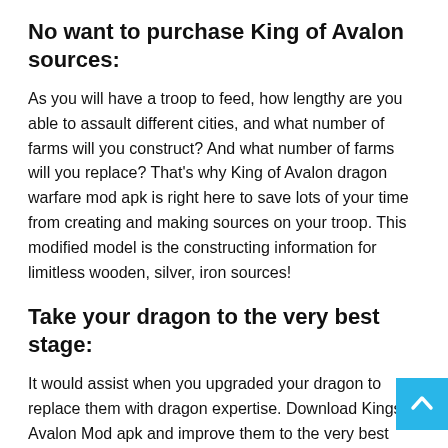No want to purchase King of Avalon sources:
As you will have a troop to feed, how lengthy are you able to assault different cities, and what number of farms will you construct? And what number of farms will you replace? That's why King of Avalon dragon warfare mod apk is right here to save lots of your time from creating and making sources on your troop. This modified model is the constructing information for limitless wooden, silver, iron sources!
Take your dragon to the very best stage:
It would assist when you upgraded your dragon to replace them with dragon expertise. Download Kings of Avalon Mod apk and improve them to the very best stage. Don't have gold to unlock desired heroes? Have entry to your required king of